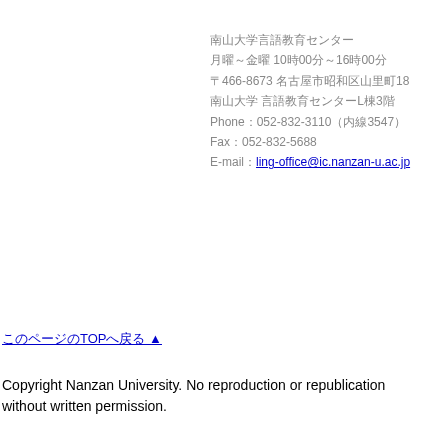南山大学言語教育センター
月曜～金曜 10時00分～16時00分
〒466-8673 名古屋市昭和区山里町18
南山大学 言語教育センターL棟3階
Phone：052-832-3110（内線3547）
Fax：052-832-5688
E-mail：ling-office@ic.nanzan-u.ac.jp
このページのTOPへ戻る ▲
Copyright Nanzan University. No reproduction or republication without written permission.